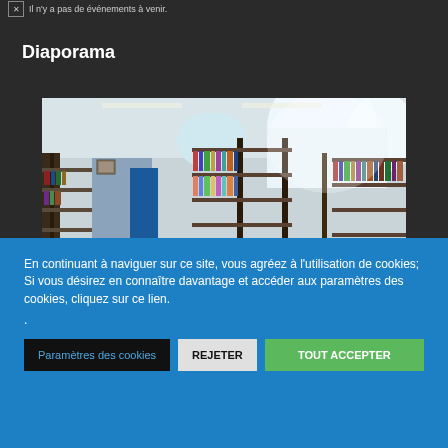Il n'y a pas de événements à venir.
Diaporama
[Figure (photo): Interior of a library with bookshelves filled with books, large arched windows letting in bright light, blue walls and door visible in background, fluorescent lighting overhead.]
En continuant à naviguer sur ce site, vous agréez à l'utilisation de cookies; Si vous désirez en connaître davantage et accéder aux paramètres des cookies, cliquez sur ce lien.
.
Paramètres des cookies
REJETER
TOUT ACCEPTER